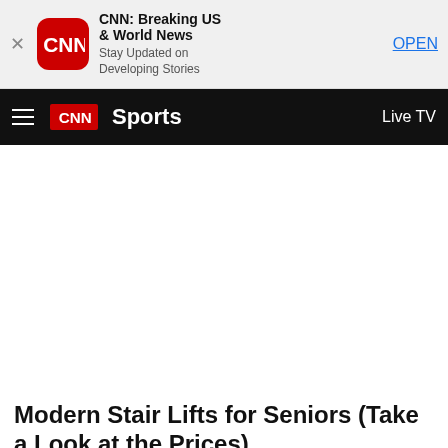[Figure (logo): CNN app banner with close button, CNN app icon (red rounded square with CNN logo), app name 'CNN: Breaking US & World News', subtitle 'Stay Updated on Developing Stories', and OPEN button]
CNN Sports  Live TV
[Figure (other): Large white blank content area (advertisement placeholder)]
Modern Stair Lifts for Seniors (Take a Look at the Prices)
Stairlifts | Sponsored Listings